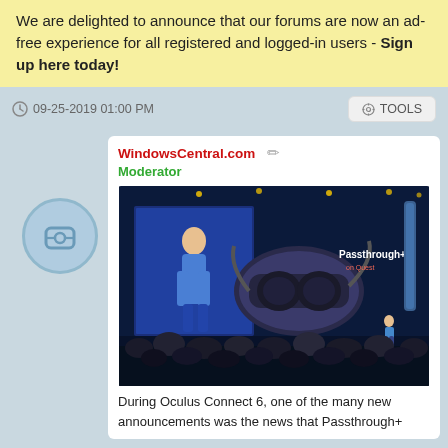We are delighted to announce that our forums are now an ad-free experience for all registered and logged-in users - Sign up here today!
09-25-2019 01:00 PM
TOOLS
WindowsCentral.com Moderator
[Figure (photo): Stage photo from Oculus Connect 6 event showing a presenter and a large VR headset image with text 'Passthrough+ on Quest' displayed on screen, audience visible in foreground]
During Oculus Connect 6, one of the many new announcements was the news that Passthrough+